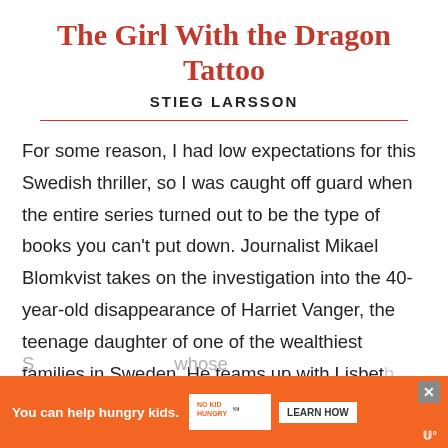The Girl With the Dragon Tattoo
STIEG LARSSON
For some reason, I had low expectations for this Swedish thriller, so I was caught off guard when the entire series turned out to be the type of books you can't put down. Journalist Mikael Blomkvist takes on the investigation into the 40-year-old disappearance of Harriet Vanger, the teenage daughter of one of the wealthiest families in Sweden. He teams up with Lisbeth S[...] whose
[Figure (other): Orange advertisement banner: 'You can help hungry kids.' with No Kid Hungry logo and 'LEARN HOW' button. Close button (X) in top right corner. Sponsor icon bottom right.]